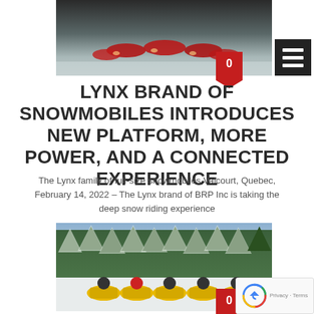[Figure (photo): Red snowmobiles lined up on snow, aerial/elevated view, dark background]
LYNX BRAND OF SNOWMOBILES INTRODUCES NEW PLATFORM, MORE POWER, AND A CONNECTED EXPERIENCE
The Lynx family of full-size snowmobiles Valcourt, Quebec, February 14, 2022 – The Lynx brand of BRP Inc is taking the deep snow riding experience
[Figure (photo): Group of riders on yellow snowmobiles in front of snow-covered evergreen forest]